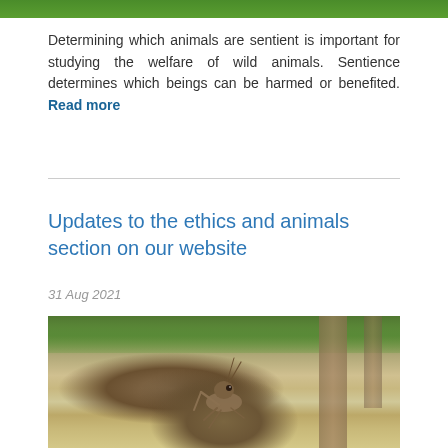[Figure (photo): Top strip of a nature/animal photo showing green foliage]
Determining which animals are sentient is important for studying the welfare of wild animals. Sentience determines which beings can be harmed or benefited. Read more
Updates to the ethics and animals section on our website
31 Aug 2021
[Figure (photo): Close-up photograph of a grasshopper/locust on the ground with blurred trees and urban background]